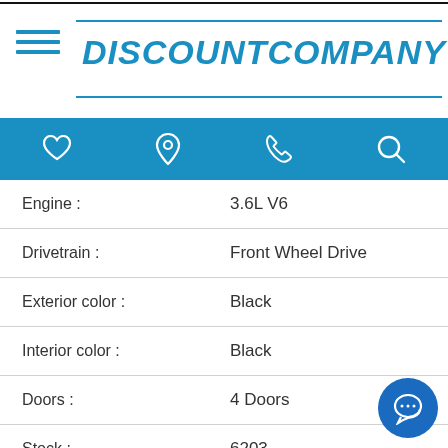DISCOUNT COMPANY
| Field | Value |
| --- | --- |
| Engine : | 3.6L V6 |
| Drivetrain : | Front Wheel Drive |
| Exterior color : | Black |
| Interior color : | Black |
| Doors : | 4 Doors |
| Stock : | 6203 |
| Fuel Type : | Flex Fuel |
| VIN : | 2C4RC1BGXGR199735 |